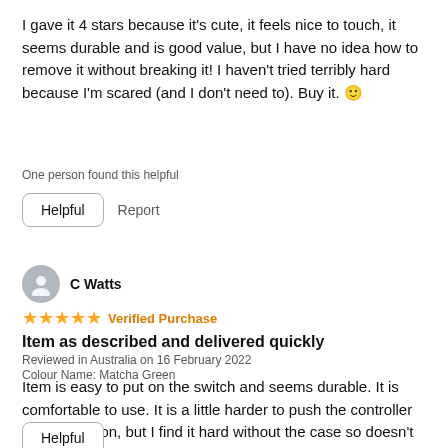I gave it 4 stars because it's cute, it feels nice to touch, it seems durable and is good value, but I have no idea how to remove it without breaking it! I haven't tried terribly hard because I'm scared (and I don't need to). Buy it. 🙂
One person found this helpful
Helpful  Report
C Watts
★★★★★ Verified Purchase
Item as described and delivered quickly
Reviewed in Australia on 16 February 2022
Colour Name: Matcha Green
Item is easy to put on the switch and seems durable. It is comfortable to use. It is a little harder to push the controller release button, but I find it hard without the case so doesn't cause too much issue. It's better to have the cover on! The colour is exactly as... See more